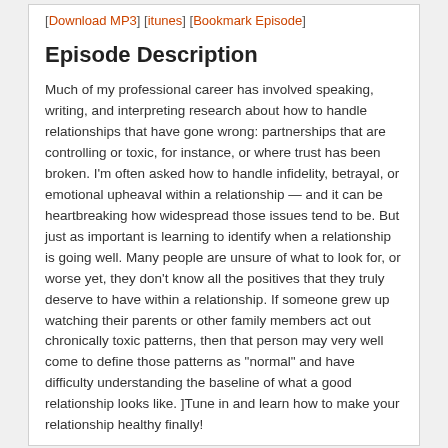[Download MP3] [itunes] [Bookmark Episode]
Episode Description
Much of my professional career has involved speaking, writing, and interpreting research about how to handle relationships that have gone wrong: partnerships that are controlling or toxic, for instance, or where trust has been broken. I'm often asked how to handle infidelity, betrayal, or emotional upheaval within a relationship — and it can be heartbreaking how widespread those issues tend to be. But just as important is learning to identify when a relationship is going well. Many people are unsure of what to look for, or worse yet, they don't know all the positives that they truly deserve to have within a relationship. If someone grew up watching their parents or other family members act out chronically toxic patterns, then that person may very well come to define those patterns as "normal" and have difficulty understanding the baseline of what a good relationship looks like. ]Tune in and learn how to make your relationship healthy finally!